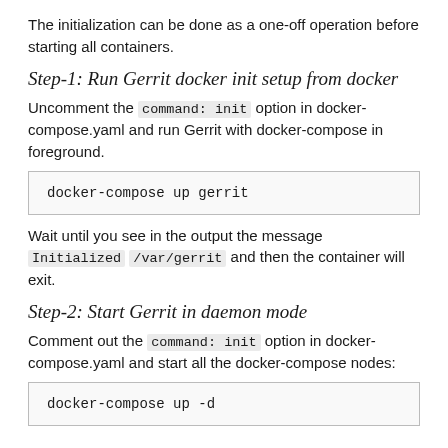The initialization can be done as a one-off operation before starting all containers.
Step-1: Run Gerrit docker init setup from docker
Uncomment the command: init option in docker-compose.yaml and run Gerrit with docker-compose in foreground.
docker-compose up gerrit
Wait until you see in the output the message Initialized /var/gerrit and then the container will exit.
Step-2: Start Gerrit in daemon mode
Comment out the command: init option in docker-compose.yaml and start all the docker-compose nodes:
docker-compose up -d